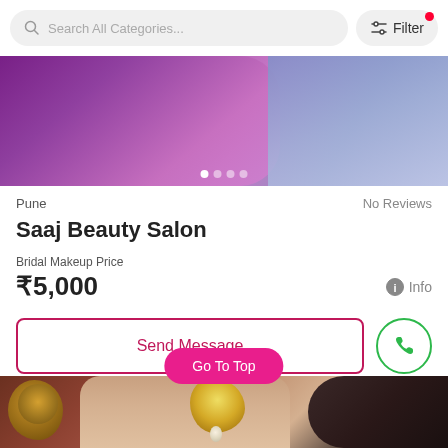Search All Categories... | Filter
[Figure (photo): Top banner image showing colorful purple/violet bridal fabric with carousel dots indicating multiple images]
Pune
No Reviews
Saaj Beauty Salon
Bridal Makeup Price
₹5,000
Info
Send Message
Go To Top
[Figure (photo): Bottom image showing a woman's profile with decorative brass lion door knocker on the left and gold jewelry/earring visible near her ear]